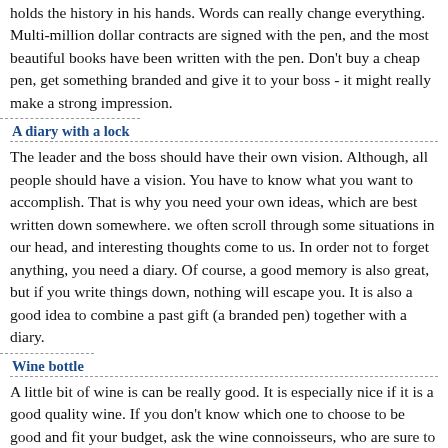holds the history in his hands. Words can really change everything. Multi-million dollar contracts are signed with the pen, and the most beautiful books have been written with the pen. Don't buy a cheap pen, get something branded and give it to your boss - it might really make a strong impression.
A diary with a lock
The leader and the boss should have their own vision. Although, all people should have a vision. You have to know what you want to accomplish. That is why you need your own ideas, which are best written down somewhere. we often scroll through some situations in our head, and interesting thoughts come to us. In order not to forget anything, you need a diary. Of course, a good memory is also great, but if you write things down, nothing will escape you. It is also a good idea to combine a past gift (a branded pen) together with a diary.
Wine bottle
A little bit of wine is can be really good. It is especially nice if it is a good quality wine. If you don't know which one to choose to be good and fit your budget, ask the wine connoisseurs, who are sure to advise you on something that will impress your boss.
T-shirt
In general, clothing is a versatile gift. If your boss likes to have a good time at parties, you can buy him something of clothing that would accentuate his individuality. Think about how you know